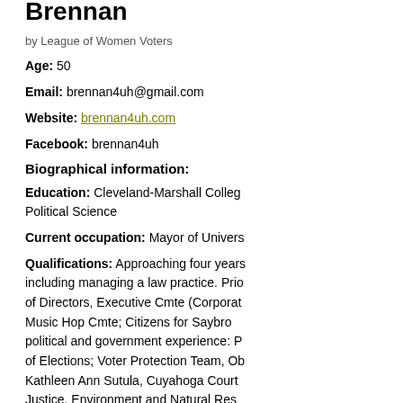Brennan
by League of Women Voters
Age: 50
Email: brennan4uh@gmail.com
Website: brennan4uh.com
Facebook: brennan4uh
Biographical information:
Education: Cleveland-Marshall College Political Science
Current occupation: Mayor of Univers
Qualifications: Approaching four years including managing a law practice. Prior of Directors, Executive Cmte (Corporat Music Hop Cmte; Citizens for Saybro political and government experience: P of Elections; Voter Protection Team, O Kathleen Ann Sutula, Cuyahoga Court Justice, Environment and Natural Res